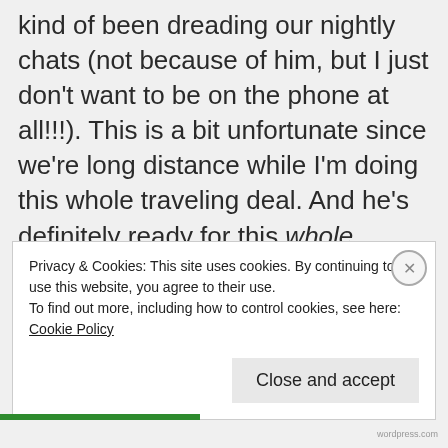kind of been dreading our nightly chats (not because of him, but I just don't want to be on the phone at all!!!). This is a bit unfortunate since we're long distance while I'm doing this whole traveling deal. And he's definitely ready for this whole traveling experience to be over! Not even close yet, sorry! And the more I travel, the more I want to travel! So putting a stop to this is going to be pretty difficult in the end, but I'm determined to try and still take a few assignments here and there,
Privacy & Cookies: This site uses cookies. By continuing to use this website, you agree to their use. To find out more, including how to control cookies, see here: Cookie Policy
Close and accept